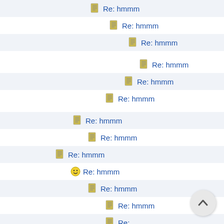Re: hmmm
Re: hmmm
Re: hmmm
Re: hmmm
Re: hmmm
Re: hmmm
Re: hmmm
Re: hmmm
Re: hmmm
Re: hmmm
Re: hmmm
Re: hmmm
Re: hmmm